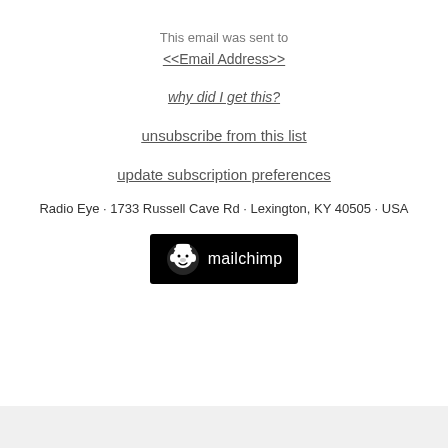This email was sent to
<<Email Address>>
why did I get this?
unsubscribe from this list
update subscription preferences
Radio Eye · 1733 Russell Cave Rd · Lexington, KY 40505 · USA
[Figure (logo): Mailchimp logo — black rectangular badge with white stylized monkey head icon and 'mailchimp' text in white]